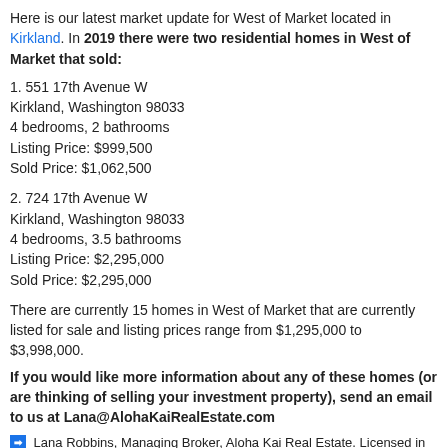Here is our latest market update for West of Market located in Kirkland. In 2019 there were two residential homes in West of Market that sold:
1. 551 17th Avenue W
Kirkland, Washington 98033
4 bedrooms, 2 bathrooms
Listing Price: $999,500
Sold Price: $1,062,500
2. 724 17th Avenue W
Kirkland, Washington 98033
4 bedrooms, 3.5 bathrooms
Listing Price: $2,295,000
Sold Price: $2,295,000
There are currently 15 homes in West of Market that are currently listed for sale and listing prices range from $1,295,000 to $3,998,000.
If you would like more information about any of these homes (or are thinking of selling your investment property), send an email to us at Lana@AlohaKaiRealEstate.com
➡ Lana Robbins, Managing Broker, Aloha Kai Real Estate. Licensed in the State of Washington and Florida. Information and statistics derived from the Northwest Multiple Listing Service.
CONNECT WITH US:
? INSTAGRAM: https://www.instagram.com/seattlerealestateshow